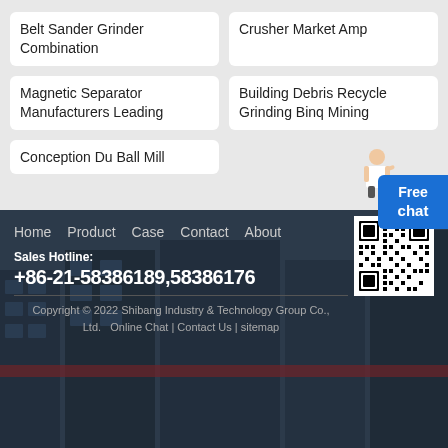Belt Sander Grinder Combination
Crusher Market Amp
Magnetic Separator Manufacturers Leading
Building Debris Recycle Grinding Binq Mining
Conception Du Ball Mill
Free chat
Home  Product  Case  Contact  About
[Figure (other): QR code for the website]
Sales Hotline:
+86-21-58386189,58386176
Copyright © 2022 Shibang Industry & Technology Group Co., Ltd.   Online Chat | Contact Us | sitemap